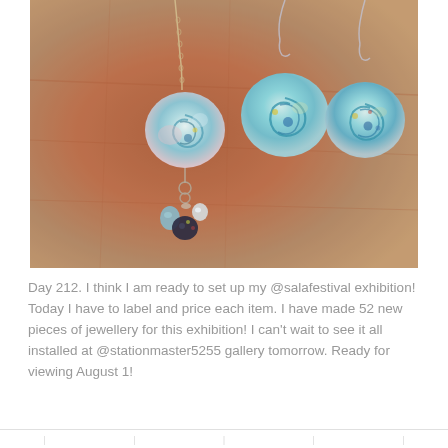[Figure (photo): Photograph of handmade glass bead jewellery on a wooden surface: a necklace with a swirled aqua/pink glass bead pendant and cluster of small charm beads, and a pair of earrings with teal swirled square glass beads on silver hooks.]
Day 212. I think I am ready to set up my @salafestival exhibition! Today I have to label and price each item. I have made 52 new pieces of jewellery for this exhibition! I can't wait to see it all installed at @stationmaster5255 gallery tomorrow. Ready for viewing August 1!